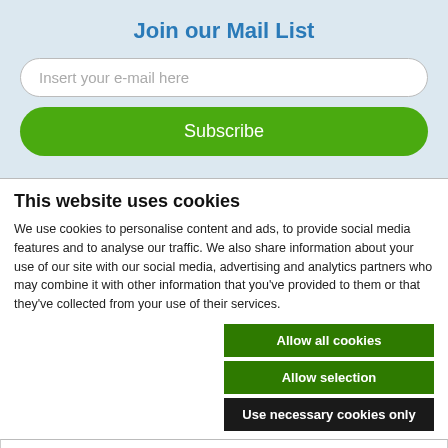Join our Mail List
Insert your e-mail here
Subscribe
This website uses cookies
We use cookies to personalise content and ads, to provide social media features and to analyse our traffic. We also share information about your use of our site with our social media, advertising and analytics partners who may combine it with other information that you've provided to them or that they've collected from your use of their services.
Allow all cookies
Allow selection
Use necessary cookies only
Necessary  Preferences  Statistics  Marketing  Show details